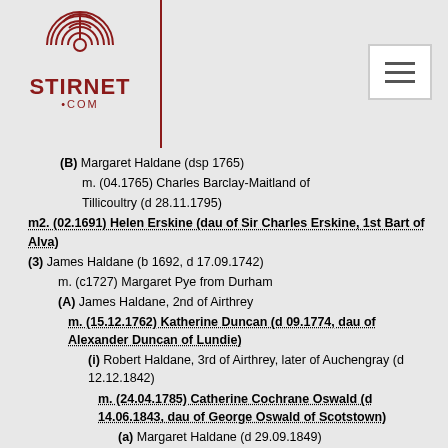Stirnet.com
(B) Margaret Haldane (dsp 1765) m. (04.1765) Charles Barclay-Maitland of Tillicoultry (d 28.11.1795)
m2. (02.1691) Helen Erskine (dau of Sir Charles Erskine, 1st Bart of Alva)
(3) James Haldane (b 1692, d 17.09.1742) m. (c1727) Margaret Pye from Durham
(A) James Haldane, 2nd of Airthrey m. (15.12.1762) Katherine Duncan (d 09.1774, dau of Alexander Duncan of Lundie)
(i) Robert Haldane, 3rd of Airthrey, later of Auchengray (d 12.12.1842) m. (24.04.1785) Catherine Cochrane Oswald (d 14.06.1843, dau of George Oswald of Scotstown)
(a) Margaret Haldane (d 29.09.1849) m. (1805) James Farquhar Gordon (d 01.1844)